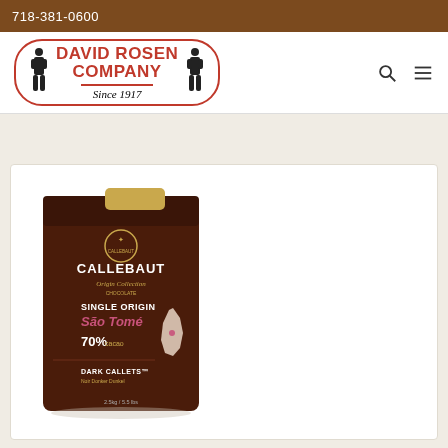718-381-0600
[Figure (logo): David Rosen Company Since 1917 logo with red oval border and two figure illustrations]
[Figure (photo): Callebaut Single Origin São Tomé 70% Dark Callets chocolate bag, 2.5kg]